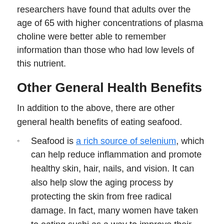researchers have found that adults over the age of 65 with higher concentrations of plasma choline were better able to remember information than those who had low levels of this nutrient.
Other General Health Benefits
In addition to the above, there are other general health benefits of eating seafood.
Seafood is a rich source of selenium, which can help reduce inflammation and promote healthy skin, hair, nails, and vision. It can also help slow the aging process by protecting the skin from free radical damage. In fact, many women have taken to eating sushi as a way to improve their skin glow.
Seafood also contains magnesium, which promotes